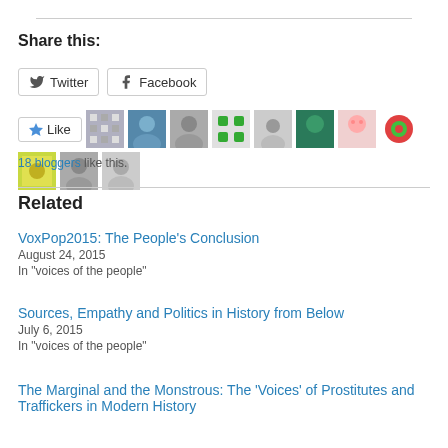Share this:
Twitter
Facebook
[Figure (other): Like button with star icon followed by avatar images of 18 bloggers who liked this]
18 bloggers like this.
Related
VoxPop2015: The People's Conclusion
August 24, 2015
In "voices of the people"
Sources, Empathy and Politics in History from Below
July 6, 2015
In "voices of the people"
The Marginal and the Monstrous: The 'Voices' of Prostitutes and Traffickers in Modern History